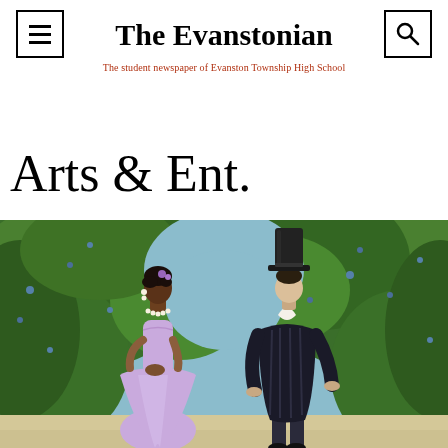The Evanstonian
The student newspaper of Evanston Township High School
Arts & Ent.
[Figure (illustration): Illustration showing two figures facing each other outdoors against a lush green foliage background with light blue sky. On the left, a Black woman in a lavender Regency-era dress with pearl necklace and earrings. On the right, a man in a dark formal Regency-era suit with a top hat.]